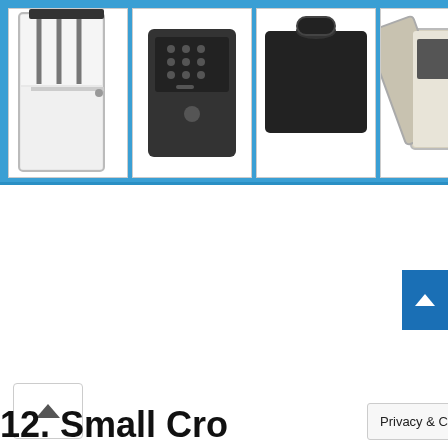[Figure (infographic): Advertisement banner for Safes.com showing six product images of various safes (gun safe, keypad box safe, black cube safe, beige fire safe, dark tall gun safe, large grey safe) on a blue background with SAFES.com logo and a close/ad-choice button]
[Figure (other): Scroll-up chevron button (up-arrow) in a white rounded box]
12. Small Cro
Privacy & Cookies Policy
[Figure (other): Blue scroll-to-top button with white upward chevron on bottom right]